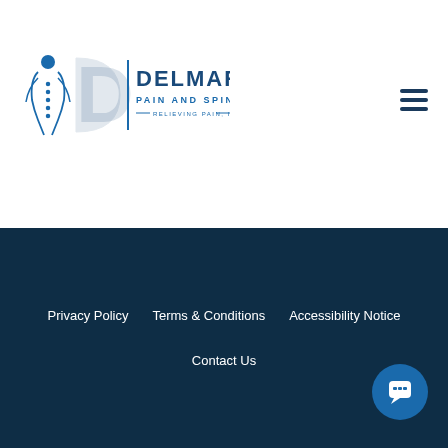[Figure (logo): Delmarva Pain and Spine Center logo with human figure and spine graphic, text reads DELMARVA PAIN AND SPINE CENTER — RELIEVING PAIN, IMPROVING LIVES —]
[Figure (other): Hamburger menu icon (three horizontal lines) in dark blue]
Privacy Policy   Terms & Conditions   Accessibility Notice   Contact Us
[Figure (other): Chat bubble icon button in blue circle]